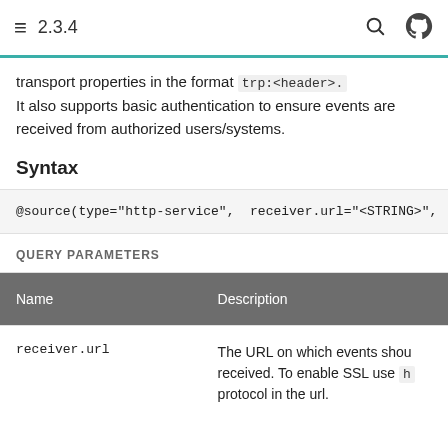2.3.4
transport properties in the format trp:<header>. It also supports basic authentication to ensure events are received from authorized users/systems.
Syntax
@source(type="http-service", receiver.url="<STRING>",
QUERY PARAMETERS
| Name | Description |
| --- | --- |
| receiver.url | The URL on which events shou received. To enable SSL use h protocol in the url. |